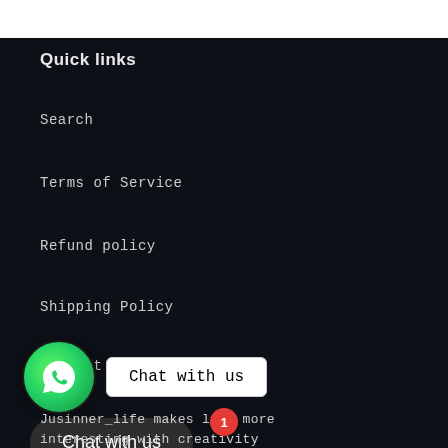Quick links
Search
Terms of Service
Refund policy
Shipping Policy
Contact Us
[Figure (screenshot): WhatsApp chat widget showing a green WhatsApp icon on the left and a white 'Chat with us' button on the right, with a dark 'Chat with us' pill button below and a red notification badge showing '1']
Jusinner_life makes life more interesting with creativity